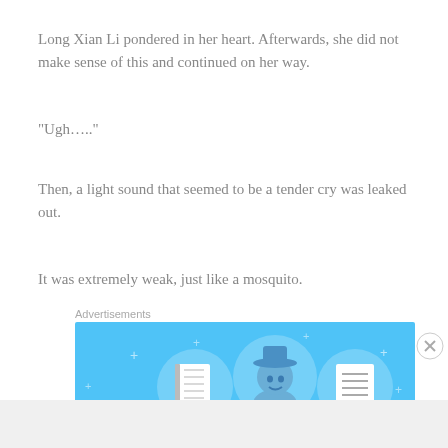Long Xian Li pondered in her heart. Afterwards, she did not make sense of this and continued on her way.
“Ugh….”
Then, a light sound that seemed to be a tender cry was leaked out.
It was extremely weak, just like a mosquito.
Advertisements
[Figure (illustration): Advertisement banner with light blue background showing three circular icons: a notebook, a person wearing a hat, and a document/list, with small plus signs scattered around.]
Advertisements